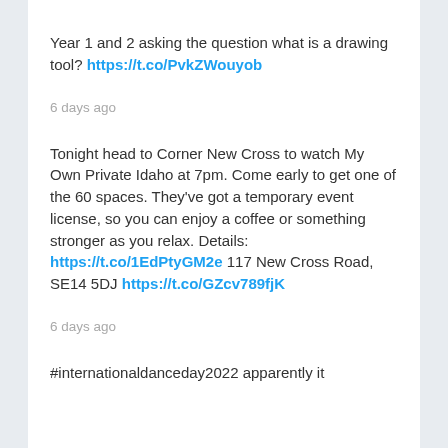Year 1 and 2 asking the question what is a drawing tool? https://t.co/PvkZWouyob
6 days ago
Tonight head to Corner New Cross to watch My Own Private Idaho at 7pm. Come early to get one of the 60 spaces. They've got a temporary event license, so you can enjoy a coffee or something stronger as you relax. Details: https://t.co/1EdPtyGM2e 117 New Cross Road, SE14 5DJ https://t.co/GZcv789fjK
6 days ago
#internationaldanceday2022 apparently it